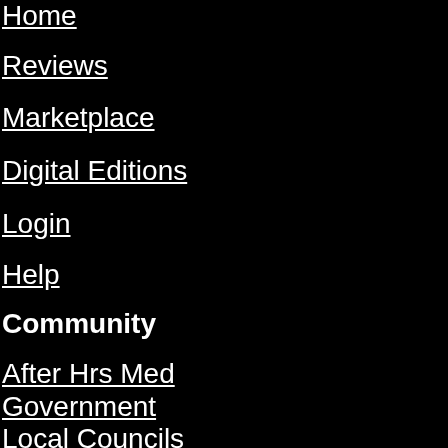Home
Reviews
Marketplace
Digital Editions
Login
Help
Community
After Hrs Med
Government
Local Councils
Latest News